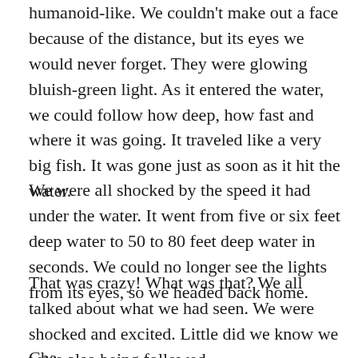humanoid-like. We couldn't make out a face because of the distance, but its eyes we would never forget. They were glowing bluish-green light. As it entered the water, we could follow how deep, how fast and where it was going. It traveled like a very big fish. It was gone just as soon as it hit the water.
We were all shocked by the speed it had under the water. It went from five or six feet deep water to 50 to 80 feet deep water in seconds. We could no longer see the lights from its eyes, so we headed back home.
That was crazy! What was that? We all talked about what we had seen. We were shocked and excited. Little did we know we were also being followed.
Cha...